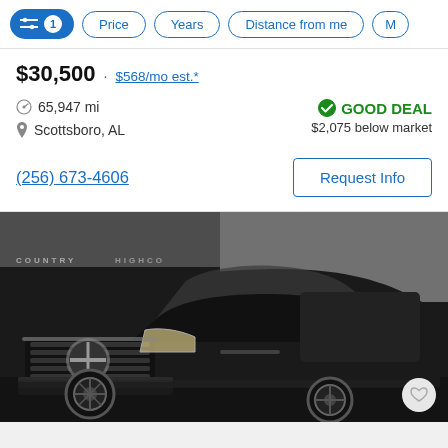Filter controls: [active filter icon 1] Price  Years  Distance from me  M...
$30,500 · $568/mo est.*
65,947 mi
Scottsboro, AL
GOOD DEAL — $2,075 below market
(256) 673-4606
Request Info
[Figure (photo): Black Nissan Pathfinder SUV photographed from the front-right angle in a dealership setting. Watermarks read COUNTRY and HIGHCO visible on the background wall.]